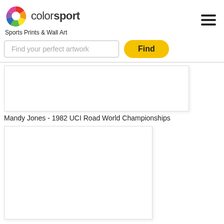colorsport - Sports Prints & Wall Art
Find your perfect artwork
[Figure (screenshot): Search input box with placeholder text 'Find your perfect artwork' and a yellow 'Find' button]
[Figure (photo): Sports print product image placeholder (white rectangle with border)]
Mandy Jones - 1982 UCI Road World Championships
[Figure (photo): Second sports print product image placeholder (white rectangle with border)]